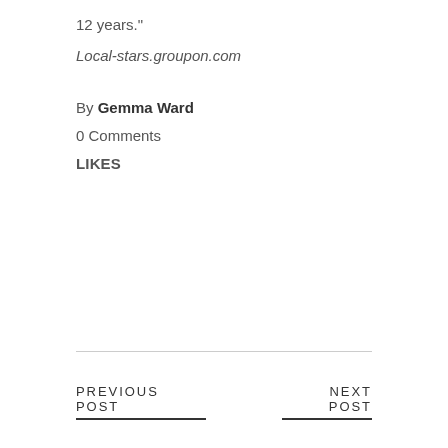12 years."
Local-stars.groupon.com
By Gemma Ward
0 Comments
LIKES
PREVIOUS POST | NEXT POST